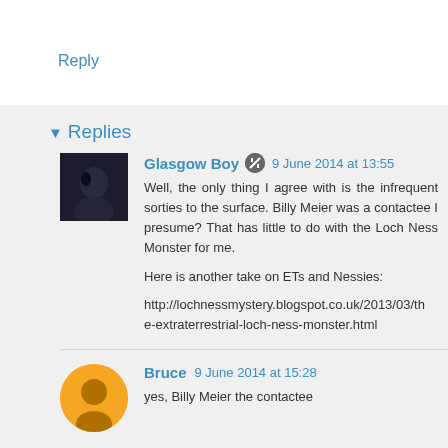Reply
Replies
Glasgow Boy 9 June 2014 at 13:55
Well, the only thing I agree with is the infrequent sorties to the surface. Billy Meier was a contactee I presume? That has little to do with the Loch Ness Monster for me.

Here is another take on ETs and Nessies:

http://lochnessmystery.blogspot.co.uk/2013/03/the-extraterrestrial-loch-ness-monster.html
Bruce 9 June 2014 at 15:28
yes, Billy Meier the contactee